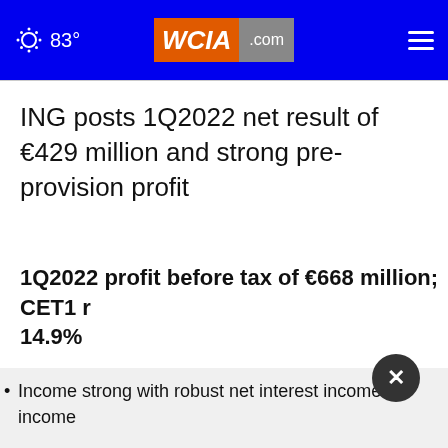83° WCIA.com
ING posts 1Q2022 net result of €429 million and strong pre-provision profit
1Q2022 profit before tax of €668 million; CET1 r 14.9%
Income strong with robust net interest income an income